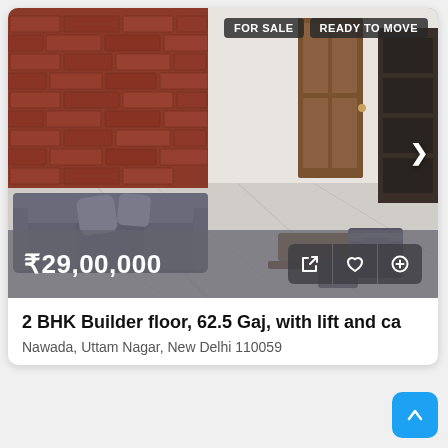[Figure (photo): Interior photo of a furnished living room with grey sofa, marble floor, brick wall accent, and dark wooden shelving unit. Tags: FOR SALE and READY TO MOVE visible in top right.]
₹29,00,000
2 BHK Builder floor, 62.5 Gaj, with lift and ca
Nawada, Uttam Nagar, New Delhi 110059